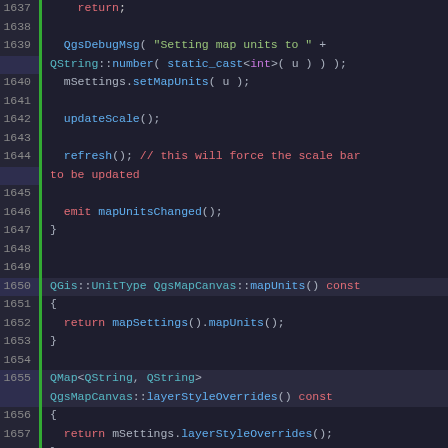Code listing lines 1637-1665, C++ source code for QgsMapCanvas methods including setMapUnits, mapUnits, layerStyleOverrides, and setLayerStyleOverrides.